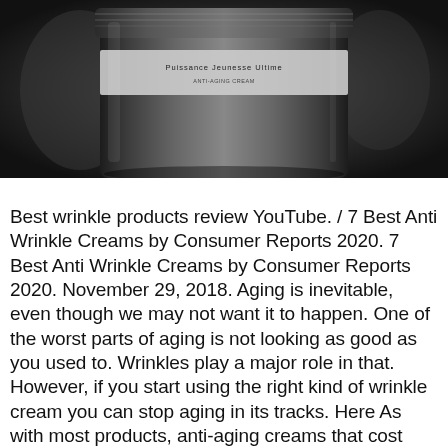[Figure (photo): Close-up photograph of a dark glass jar with a label reading 'Puissance Jeunesse Ultime' at the top]
Best wrinkle products review YouTube. / 7 Best Anti Wrinkle Creams by Consumer Reports 2020. 7 Best Anti Wrinkle Creams by Consumer Reports 2020. November 29, 2018. Aging is inevitable, even though we may not want it to happen. One of the worst parts of aging is not looking as good as you used to. Wrinkles play a major role in that. However, if you start using the right kind of wrinkle cream you can stop aging in its tracks. Here As with most products, anti-aging creams that cost more aren't necessarily more effective